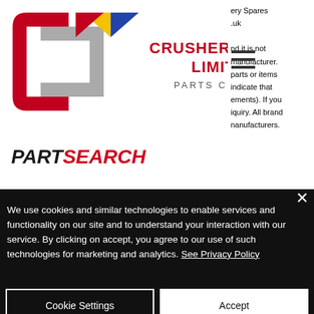[Figure (logo): Crusher Consumables Limited Parts Centre logo with stylized C icon in red/grey/yellow/blue]
PARTSEARCH
ery Spares .uk nd it is not manufacturer. parts or items indicate that ements). If you iquiry. All brand manufacturers.
Crusher Consumables Ltd has no affiliation with the original equipment manufacturer. These terms are used for identification purposes only and are not intended to indicate affiliation with or approval by the OEM.
CONDITIONS OF SALE
We use cookies and similar technologies to enable services and functionality on our site and to understand your interaction with our service. By clicking on accept, you agree to our use of such technologies for marketing and analytics. See Privacy Policy
Cookie Settings
Accept